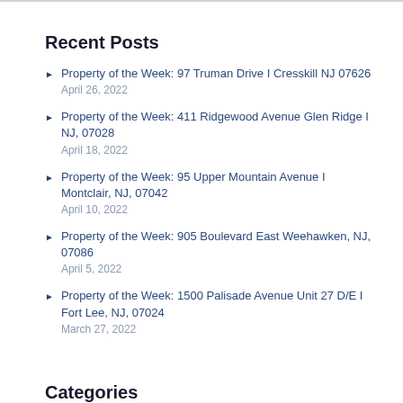Recent Posts
Property of the Week: 97 Truman Drive I Cresskill NJ 07626
April 26, 2022
Property of the Week: 411 Ridgewood Avenue Glen Ridge I NJ, 07028
April 18, 2022
Property of the Week: 95 Upper Mountain Avenue I Montclair, NJ, 07042
April 10, 2022
Property of the Week: 905 Boulevard East Weehawken, NJ, 07086
April 5, 2022
Property of the Week: 1500 Palisade Avenue Unit 27 D/E I Fort Lee, NJ, 07024
March 27, 2022
Categories